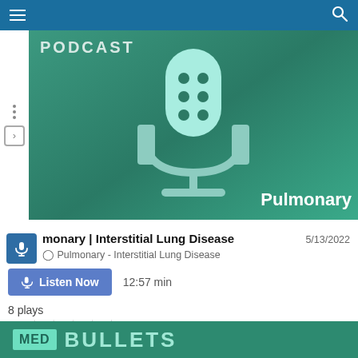≡  [search icon]
[Figure (illustration): Podcast banner with teal/green background, stylized microphone icon, text 'PODCAST' top left and 'Pulmonary' bottom right]
monary | Interstitial Lung Disease
Pulmonary - Interstitial Lung Disease
5/13/2022
Listen Now   12:57 min
8 plays
0.0  ★ ★ ★ ★ ★  (0)
[Figure (logo): MED BULLETS logo on teal background at bottom of page]